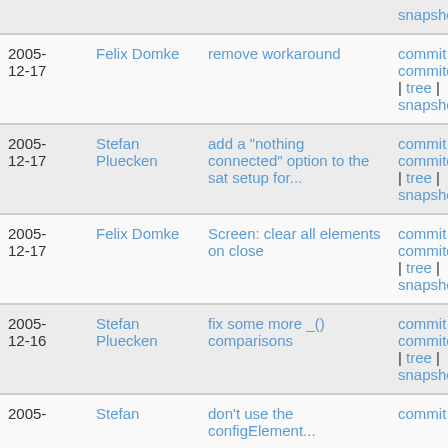| Date | Author | Message | Links |
| --- | --- | --- | --- |
|  |  |  | snapshot |
| 2005-
12-17 | Felix Domke | remove workaround | commit | commitdiff | tree | snapshot |
| 2005-
12-17 | Stefan Pluecken | add a "nothing connected" option to the sat setup for... | commit | commitdiff | tree | snapshot |
| 2005-
12-17 | Felix Domke | Screen: clear all elements on close | commit | commitdiff | tree | snapshot |
| 2005-
12-16 | Stefan Pluecken | fix some more _() comparisons | commit | commitdiff | tree | snapshot |
| 2005- | Stefan | don't use the configElement... | commit | |